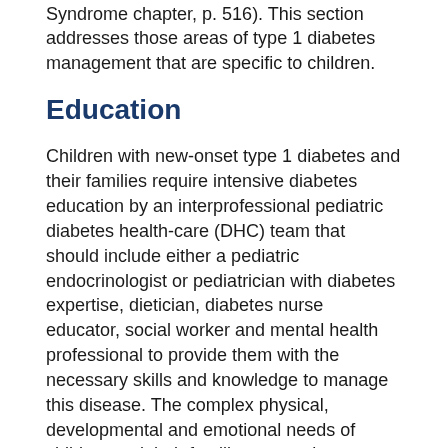Syndrome chapter, p. 516). This section addresses those areas of type 1 diabetes management that are specific to children.
Education
Children with new-onset type 1 diabetes and their families require intensive diabetes education by an interprofessional pediatric diabetes health-care (DHC) team that should include either a pediatric endocrinologist or pediatrician with diabetes expertise, dietician, diabetes nurse educator, social worker and mental health professional to provide them with the necessary skills and knowledge to manage this disease. The complex physical, developmental and emotional needs of children and their families necessitate specialized care to ensure the best long-term outcomes (1,2). Education topics must include insulin action, administration and dosage adjustment; blood glucose (BG) and ketone monitoring; sick-day management and prevention